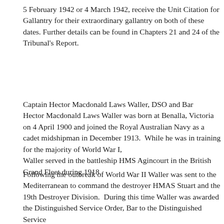5 February 1942 or 4 March 1942, receive the Unit Citation for Gallantry for their extraordinary gallantry on both of these dates. Further details can be found in Chapters 21 and 24 of the Tribunal's Report.
Captain Hector Macdonald Laws Waller, DSO and Bar
Hector Macdonald Laws Waller was born at Benalla, Victoria on 4 April 1900 and joined the Royal Australian Navy as a cadet midshipman in December 1913. While he was in training for the majority of World War I,
Waller served in the battleship HMS Agincourt in the British Grand Fleet during 1918.
Following the outbreak of World War II Waller was sent to the Mediterranean to command the destroyer HMAS Stuart and the 19th Destroyer Division. During this time Waller was awarded the Distinguished Service Order, Bar to the Distinguished Service